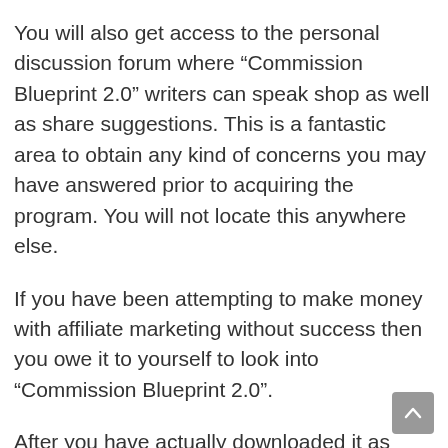You will also get access to the personal discussion forum where “Commission Blueprint 2.0” writers can speak shop as well as share suggestions. This is a fantastic area to obtain any kind of concerns you may have answered prior to acquiring the program. You will not locate this anywhere else.
If you have been attempting to make money with affiliate marketing without success then you owe it to yourself to look into “Commission Blueprint 2.0”.
After you have actually downloaded it as well as have a comprehensive understanding of exactly how it works, you can acquire a duplicate of the premium version of “Compensation Blueprint 2.0” for the very same expense as the free variation.